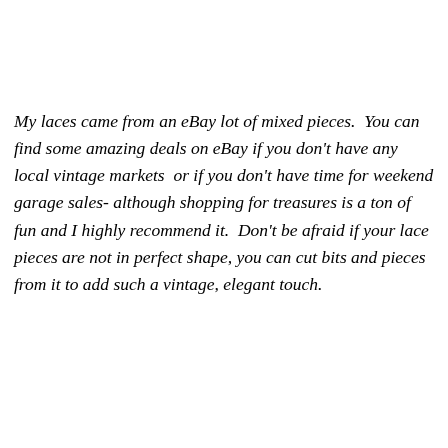My laces came from an eBay lot of mixed pieces.  You can find some amazing deals on eBay if you don't have any local vintage markets  or if you don't have time for weekend garage sales- although shopping for treasures is a ton of fun and I highly recommend it.  Don't be afraid if your lace pieces are not in perfect shape, you can cut bits and pieces from it to add such a vintage, elegant touch.